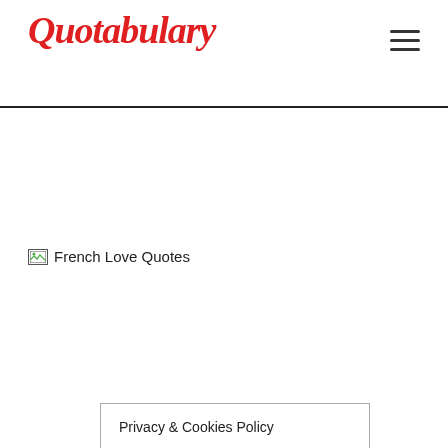Quotabulary
[Figure (illustration): Broken image placeholder icon labeled 'French Love Quotes']
Privacy & Cookies Policy